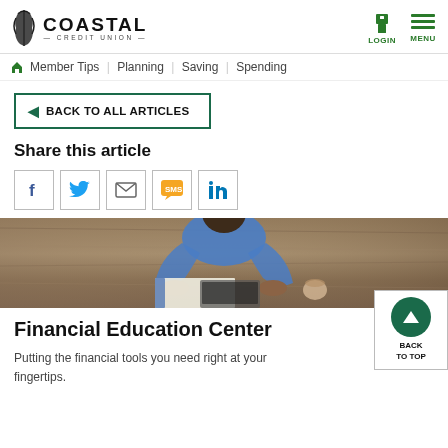COASTAL CREDIT UNION | LOGIN | MENU
Member Tips | Planning | Saving | Spending
BACK TO ALL ARTICLES
Share this article
[Figure (other): Social share icons: Facebook, Twitter, Email, SMS, LinkedIn]
[Figure (photo): Overhead view of a person working at a wooden desk with papers and a laptop]
Financial Education Center
Putting the financial tools you need right at your fingertips.